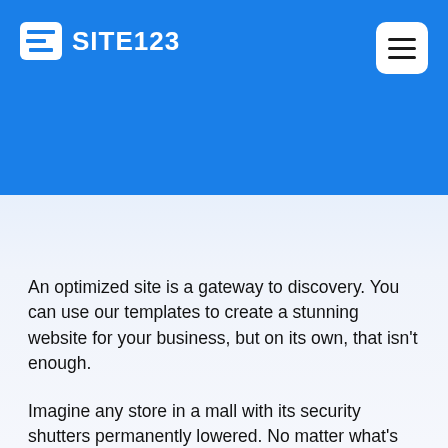SITE123
An optimized site is a gateway to discovery. You can use our templates to create a stunning website for your business, but on its own, that isn't enough.
Imagine any store in a mall with its security shutters permanently lowered. No matter what's inside, it can't be sold if potential customers don't know it's there and can't